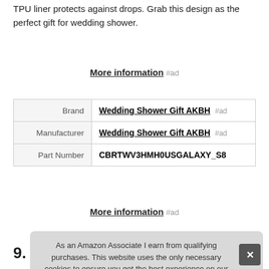TPU liner protects against drops. Grab this design as the perfect gift for wedding shower.
More information #ad
|  |  |
| --- | --- |
| Brand | Wedding Shower Gift AKBH #ad |
| Manufacturer | Wedding Shower Gift AKBH #ad |
| Part Number | CBRTWV3HMH0USGALAXY_S8 |
More information #ad
As an Amazon Associate I earn from qualifying purchases. This website uses the only necessary cookies to ensure you get the best experience on our website. More information